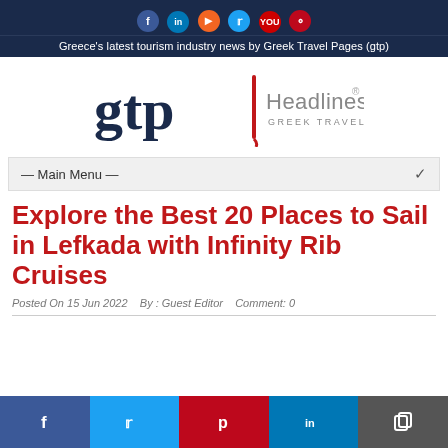Greece's latest tourism industry news by Greek Travel Pages (gtp)
[Figure (logo): GTP Headlines | Greek Travel Pages logo with dark blue 'gtp' text, red vertical bar, and grey 'Headlines' with 'GREEK TRAVEL PAGES' subtitle]
— Main Menu —
Explore the Best 20 Places to Sail in Lefkada with Infinity Rib Cruises
Posted On 15 Jun 2022   By : Guest Editor   Comment: 0